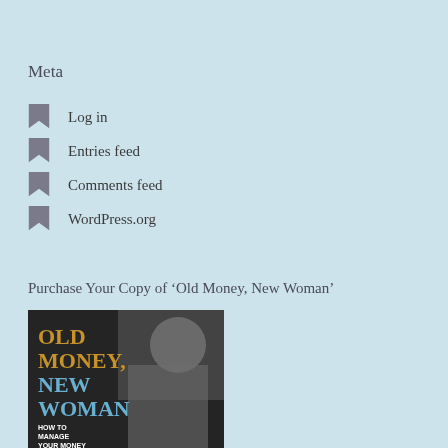Meta
Log in
Entries feed
Comments feed
WordPress.org
Purchase Your Copy of ‘Old Money, New Woman’
[Figure (photo): Book cover of 'Old Money, New Woman: How to Manage Your Money' showing a black and white photo of a woman with the title text in gold and blue]